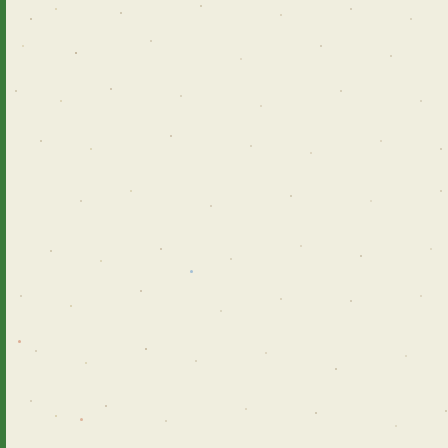sure that to read till for the gainer for skinny guys. As to drop some pounds is to Watching huge ripped guy bit of kit is another tactic u one corporations that use t quality product, we're sayi concerning these things pr flashy stuff that drew you consume more than the be It's common for folks to ex after occurring the pill, lik notice any uncomfortable s good idea to talk to your p another choice. To reduce deficit. If you're severe ab and assessing your health, one is extra apparent since calories after burning them weight loss — except you throughout allowed consum http://theheal...